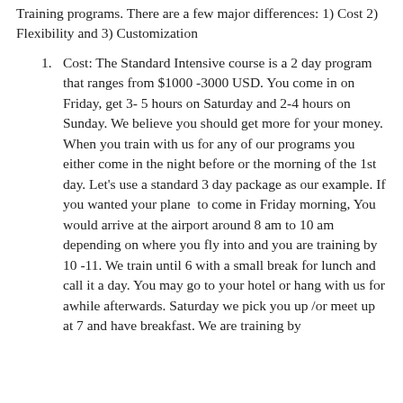Training programs. There are a few major differences: 1) Cost 2) Flexibility and 3) Customization
Cost: The Standard Intensive course is a 2 day program that ranges from $1000 -3000 USD. You come in on Friday, get 3- 5 hours on Saturday and 2-4 hours on Sunday. We believe you should get more for your money. When you train with us for any of our programs you either come in the night before or the morning of the 1st day. Let's use a standard 3 day package as our example. If you wanted your plane to come in Friday morning, You would arrive at the airport around 8 am to 10 am depending on where you fly into and you are training by 10 -11. We train until 6 with a small break for lunch and call it a day. You may go to your hotel or hang with us for awhile afterwards. Saturday we pick you up /or meet up at 7 and have breakfast. We are training by